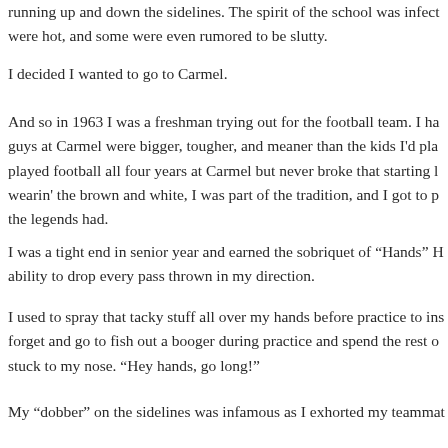running up and down the sidelines. The spirit of the school was infect were hot, and some were even rumored to be slutty.
I decided I wanted to go to Carmel.
And so in 1963 I was a freshman trying out for the football team. I ha guys at Carmel were bigger, tougher, and meaner than the kids I'd pla played football all four years at Carmel but never broke that starting l wearin' the brown and white, I was part of the tradition, and I got to p the legends had.
I was a tight end in senior year and earned the sobriquet of “Hands” H ability to drop every pass thrown in my direction.
I used to spray that tacky stuff all over my hands before practice to ins forget and go to fish out a booger during practice and spend the rest o stuck to my nose. “Hey hands, go long!”
My “dobber” on the sidelines was infamous as I exhorted my teammat